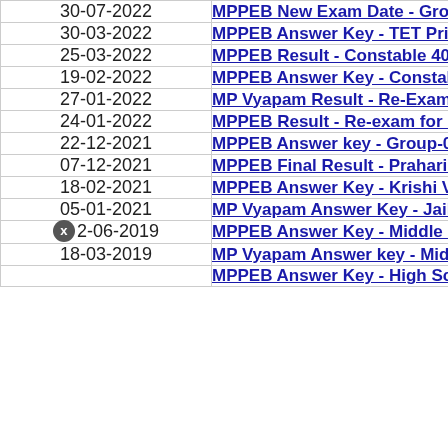| Date | Link |
| --- | --- |
| 30-07-2022 | MPPEB New Exam Date - Group 1 & 2 Posts Exam 2... |
| 30-03-2022 | MPPEB Answer Key - TET Primary Teacher Eligibility... |
| 25-03-2022 | MPPEB Result - Constable 4000 Posts (Held in Jan 2... |
| 19-02-2022 | MPPEB Answer Key - Constable 4000 Posts (Held in... |
| 27-01-2022 | MP Vyapam Result - Re-Exam for Group-05 2020 (Pa... |
| 24-01-2022 | MPPEB Result - Re-exam for RAEO (Executive) and S... |
| 22-12-2021 | MPPEB Answer key - Group-02 (Sub Group-04) Re-ex... |
| 07-12-2021 | MPPEB Final Result - Prahari (Jail Department) Exam... |
| 18-02-2021 | MPPEB Answer Key - Krishi Vistar Adhikari Posts (H... |
| 05-01-2021 | MP Vyapam Answer Key - Jail Prahari (Karyapalik) P... |
| x 2-06-2019 | MPPEB Answer Key - Middle School TET 2018 (Revis... |
| 18-03-2019 | MP Vyapam Answer key - Middle School Teacher Elig... |
|  | MPPEB Answer Key - High School Teacher Eligibility... |